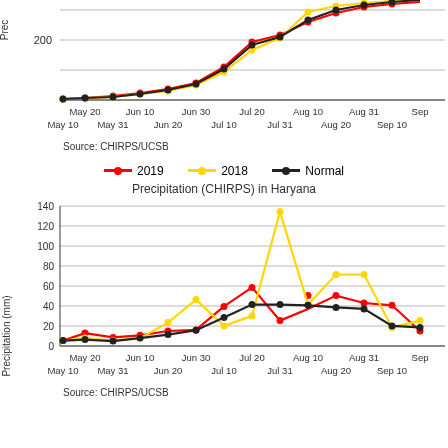[Figure (line-chart): (Top chart - cumulative precipitation, partial view)]
Source: CHIRPS/UCSB
[Figure (line-chart): Precipitation (CHIRPS) in Haryana]
Source: CHIRPS/UCSB